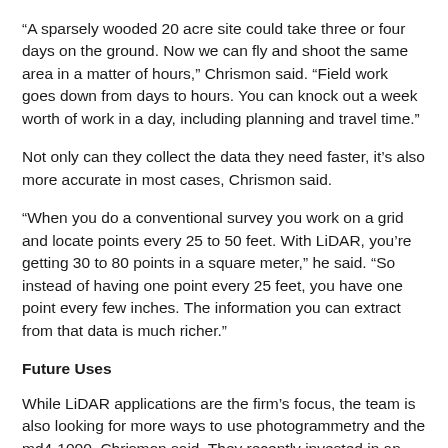“A sparsely wooded 20 acre site could take three or four days on the ground. Now we can fly and shoot the same area in a matter of hours,” Chrismon said. “Field work goes down from days to hours. You can knock out a week worth of work in a day, including planning and travel time.”
Not only can they collect the data they need faster, it’s also more accurate in most cases, Chrismon said.
“When you do a conventional survey you work on a grid and locate points every 25 to 50 feet. With LiDAR, you’re getting 30 to 80 points in a square meter,” he said. “So instead of having one point every 25 feet, you have one point every few inches. The information you can extract from that data is much richer.”
Future Uses
While LiDAR applications are the firm’s focus, the team is also looking for more ways to use photogrammetry and the md4-1000, Chrismon said. They recently invested in an inspection package from Microdrones.